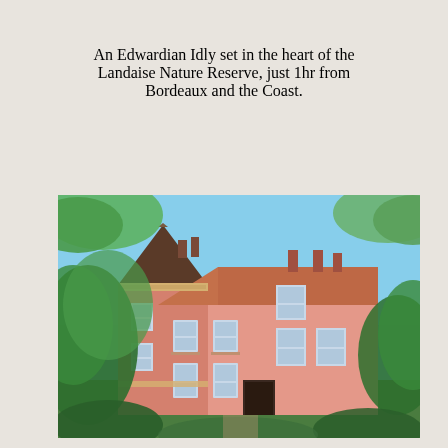An Edwardian Idly set in the heart of the Landaise Nature Reserve, just 1hr from Bordeaux and the Coast.
[Figure (photo): Exterior photograph of a large pink Edwardian-style French country house (château), with a tall pointed tower on the left, terracotta roof tiles, decorative eaves, shuttered windows, multiple chimneys, surrounded by lush green trees under a bright blue sky.]